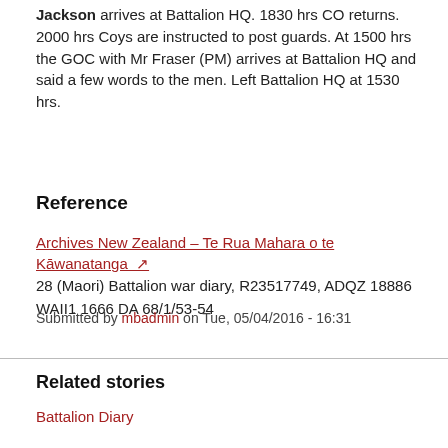Jackson arrives at Battalion HQ. 1830 hrs CO returns. 2000 hrs Coys are instructed to post guards. At 1500 hrs the GOC with Mr Fraser (PM) arrives at Battalion HQ and said a few words to the men. Left Battalion HQ at 1530 hrs.
Reference
Archives New Zealand – Te Rua Mahara o te Kāwanatanga ↗
28 (Maori) Battalion war diary, R23517749, ADQZ 18886 WAII1 1666 DA 68/1/53-54
Submitted by mbadmin on Tue, 05/04/2016 - 16:31
Related stories
Battalion Diary